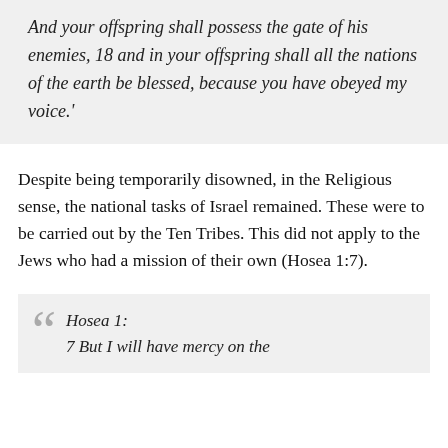And your offspring shall possess the gate of his enemies, 18 and in your offspring shall all the nations of the earth be blessed, because you have obeyed my voice.'
Despite being temporarily disowned, in the Religious sense, the national tasks of Israel remained. These were to be carried out by the Ten Tribes. This did not apply to the Jews who had a mission of their own (Hosea 1:7).
Hosea 1: 7 But I will have mercy on the